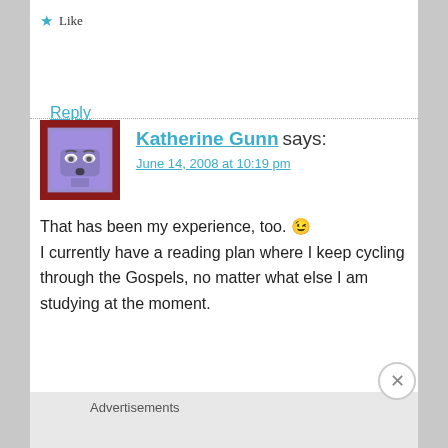★ Like
Reply
Katherine Gunn says:
June 14, 2008 at 10:19 pm
That has been my experience, too. 😉 I currently have a reading plan where I keep cycling through the Gospels, no matter what else I am studying at the moment.
★ Like
Advertisements